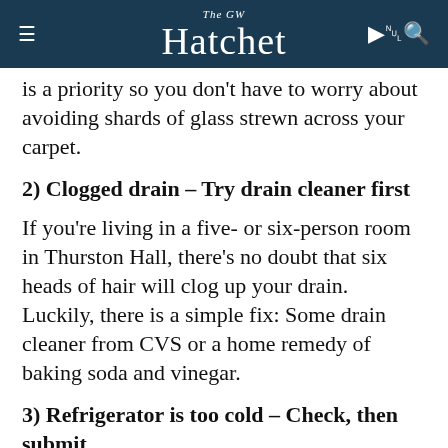The GW Hatchet
…currently come up to the Roper that this is a priority so you don't have to worry about avoiding shards of glass strewn across your carpet.
2) Clogged drain – Try drain cleaner first
If you're living in a five- or six-person room in Thurston Hall, there's no doubt that six heads of hair will clog up your drain. Luckily, there is a simple fix: Some drain cleaner from CVS or a home remedy of baking soda and vinegar.
3) Refrigerator is too cold – Check, then submit